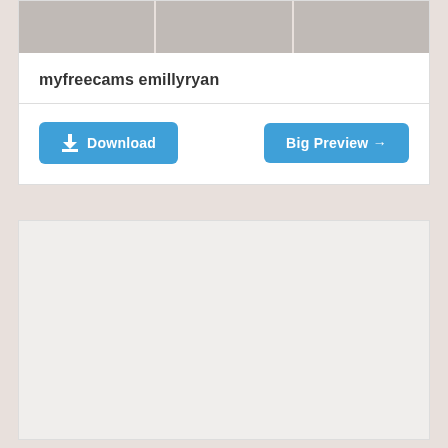[Figure (photo): A strip of three repeated photo thumbnails showing a person in lingerie against a light curtain background]
myfreecams emillyryan
Download | Big Preview →
[Figure (photo): Large white/light content area below, representing an advertisement or embedded content block]